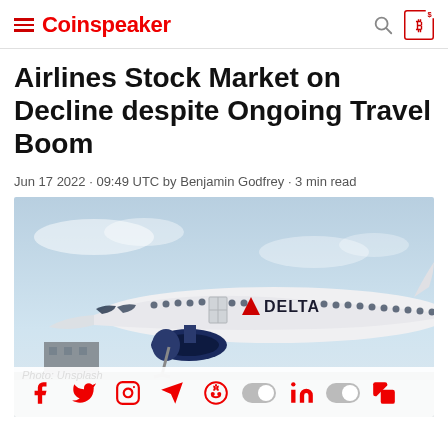Coinspeaker
Airlines Stock Market on Decline despite Ongoing Travel Boom
Jun 17 2022 · 09:49 UTC by Benjamin Godfrey · 3 min read
[Figure (photo): Delta Airlines aircraft on runway, nose and fuselage visible with Delta logo and livery, blue engine, cloudy sky background]
Photo: Unsplash